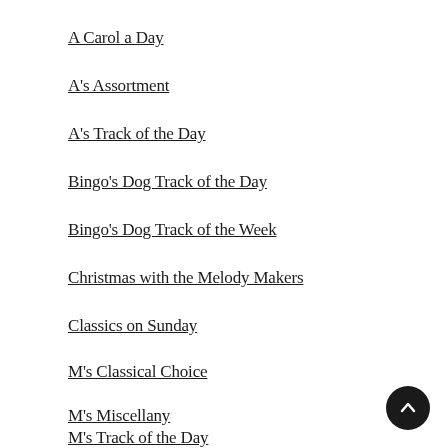A Carol a Day
A's Assortment
A's Track of the Day
Bingo's Dog Track of the Day
Bingo's Dog Track of the Week
Christmas with the Melody Makers
Classics on Sunday
M's Classical Choice
M's Miscellany
M's Track of the Day